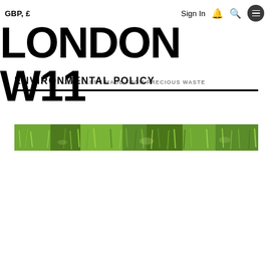GBP, £   Sign In   🔔   🔍   ☰
LONDON W11
JEWELLERY MADE FROM PRECIOUS WASTE
ENVIRONMENTAL POLICY
[Figure (photo): A narrow horizontal strip showing green grass close-up]